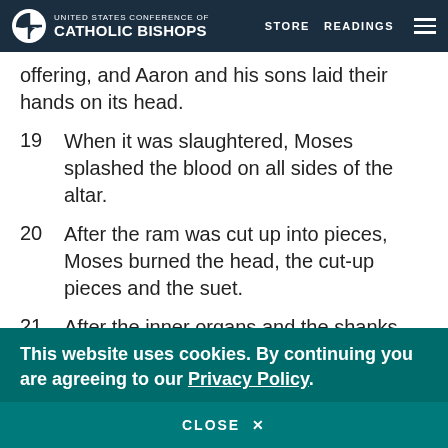UNITED STATES CONFERENCE OF CATHOLIC BISHOPS | STORE | READINGS
offering, and Aaron and his sons laid their hands on its head.
19  When it was slaughtered, Moses splashed the blood on all sides of the altar.
20  After the ram was cut up into pieces, Moses burned the head, the cut-up pieces and the suet.
21  After the inner organs and the shanks were washed with water, Moses burned these remaining parts of the ram on the altar. It was a
This website uses cookies. By continuing you are agreeing to our Privacy Policy.
CLOSE  X